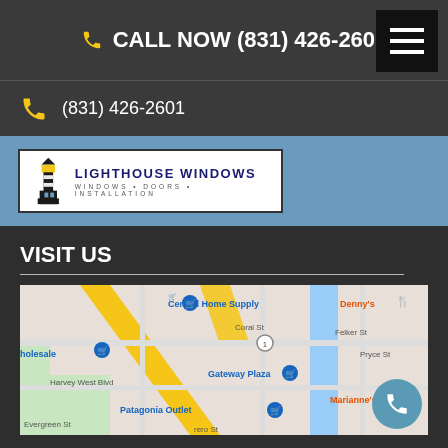CALL NOW (831) 426-2601
(831) 426-2601
[Figure (logo): Lighthouse Windows logo — lighthouse graphic with text LIGHTHOUSE WINDOWS, WINDOWS • DOORS • INSTALLATION]
VISIT US
[Figure (map): Google Maps screenshot showing area near Gateway Plaza, Santa Cruz CA. Visible labels: Central Home Supply, Coral St, Denny's, Felker St, Pryce St, Harvey West Blvd, Gateway Plaza, Patagonia Outlet, Marianne's Ice C, Evergreen St. Yellow roads, blue waterway, green park area.]